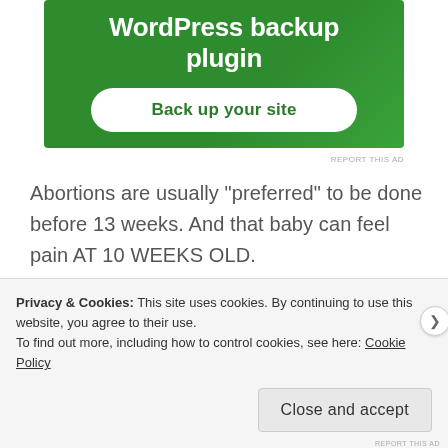[Figure (screenshot): Advertisement banner with green background showing 'WordPress backup plugin' text and 'Back up your site' button]
REPORT THIS AD
Abortions are usually "preferred" to be done before 13 weeks. And that baby can feel pain AT 10 WEEKS OLD.
Maybe you want to do something to help – something to free our country from this blood bath that happens every day.
Privacy & Cookies: This site uses cookies. By continuing to use this website, you agree to their use.
To find out more, including how to control cookies, see here: Cookie Policy